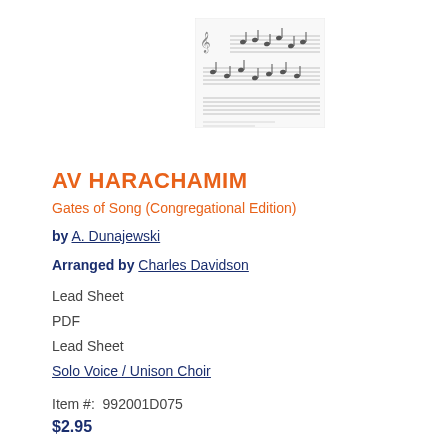[Figure (illustration): Small thumbnail preview of sheet music notation]
AV HARACHAMIM
Gates of Song (Congregational Edition)
by A. Dunajewski
Arranged by Charles Davidson
Lead Sheet
PDF
Lead Sheet
Solo Voice / Unison Choir
Item #:  992001D075
$2.95